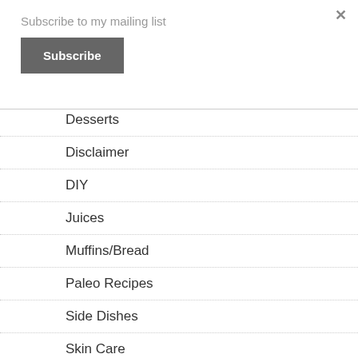Subscribe to my mailing list
Subscribe
Desserts
Disclaimer
DIY
Juices
Muffins/Bread
Paleo Recipes
Side Dishes
Skin Care